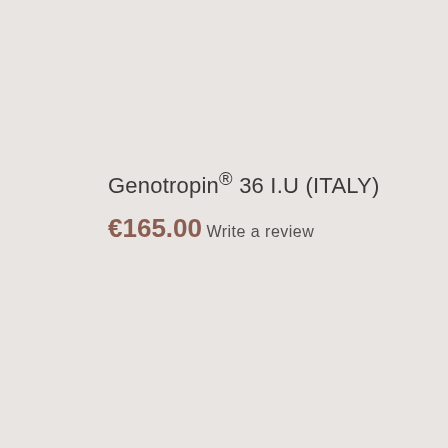Genotropin® 36 I.U (ITALY)
€165.00
Write a review